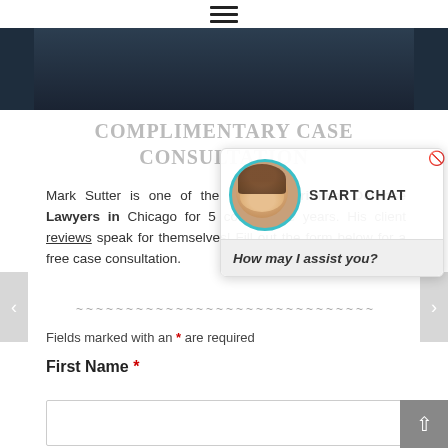≡
[Figure (photo): Dark background photo strip of a person in formal attire, partially visible]
COMPLIMENTARY CASE CONSULTATION
Mark Sutter is one of the 10 Best Criminal Defense Lawyers in Chicago for 5 consecutive years. His client reviews speak for themselves! Fill out the form below for a free case consultation.
~~~~~~~~~~~~~~~~~~~~~~~~~~~~~~
Fields marked with an * are required
First Name *
[Figure (screenshot): Live chat widget overlay showing a woman's avatar photo with teal circular border, START CHAT button, and 'How may I assist you?' chat bubble]